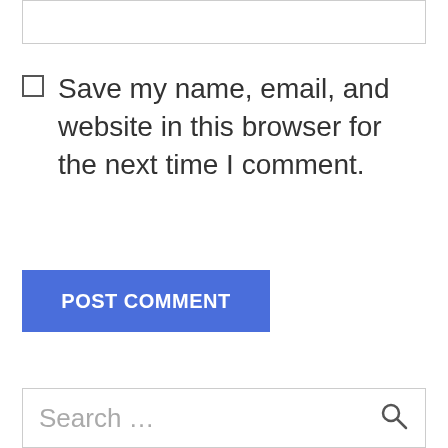[Figure (screenshot): A text input box at the top of the page]
Save my name, email, and website in this browser for the next time I comment.
[Figure (screenshot): POST COMMENT button in blue]
[Figure (screenshot): Search input box at the bottom with placeholder text 'Search ...' and a search icon]